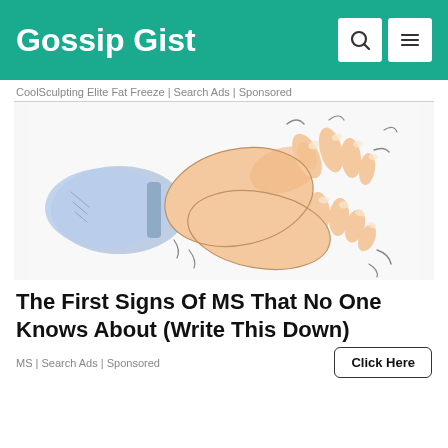Gossip Gist
CoolSculpting Elite Fat Freeze | Search Ads | Sponsored
[Figure (illustration): Illustration of two hands clasped together, one wearing a blue shirt sleeve, depicting hand tremor or grip — related to MS symptoms.]
The First Signs Of MS That No One Knows About (Write This Down)
MS | Search Ads | Sponsored